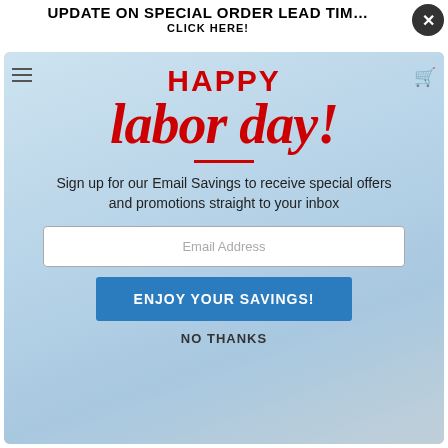UPDATE ON SPECIAL ORDER LEAD TIME
CLICK HERE!
HAPPY
labor day!
Sign up for our Email Savings to receive special offers and promotions straight to your inbox
Email Address
ENJOY YOUR SAVINGS!
NO THANKS